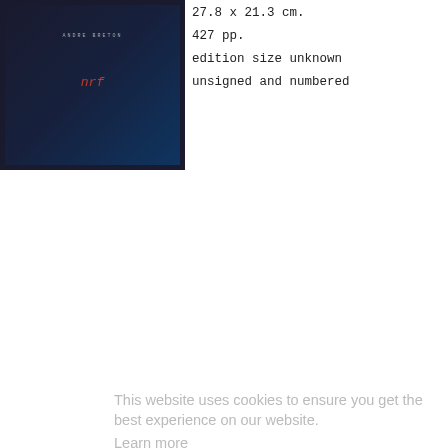[Figure (photo): Dark book cover with author name 'ANDRE BRETON' in small caps and a red italic title 'nrf' in the center]
27.8 x 21.3 cm.
427 pp.
edition size unknown
unsigned and numbered
Bleule
Braun
Giorda
Marc G
Courte
Oscar
Ducha
Joachi
James
Goethe
Heracl
Kahlo
Henri
Lulle,
André
Moore
Onslov
Picass
Renou
Jean-J
Caroli
Smith,
Raoui
This website uses cookies to ensure you get the best experience on our website.
Learn more
Got it!